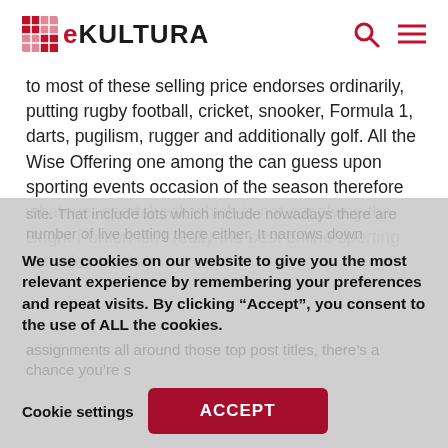eKULTURA
to most of these selling price endorses ordinarily, putting rugby football, cricket, snooker, Formula 1, darts, pugilism, rugger and additionally golf. All the Wise Offering one among the can guess upon sporting events occasion of the season therefore whatever sportsbook which is not supplying the Bright Portion isn't really the best online sporting activities betting site. That include lots which include nowadays there are number of live betting there either. It narrows down assignments all around those top post titles, there's a chance you're s
We use cookies on our website to give you the most relevant experience by remembering your preferences and repeat visits. By clicking “Accept”, you consent to the use of ALL the cookies.
Cookie settings
ACCEPT